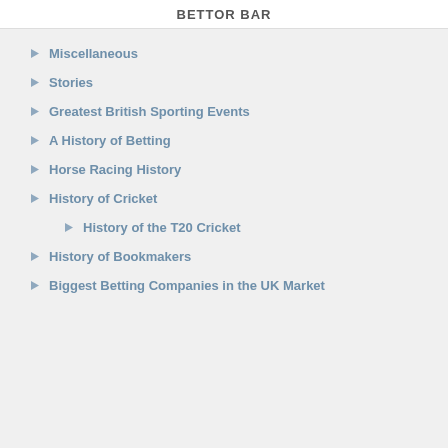Bettor Bar
Miscellaneous
Stories
Greatest British Sporting Events
A History of Betting
Horse Racing History
History of Cricket
History of the T20 Cricket
History of Bookmakers
Biggest Betting Companies in the UK Market